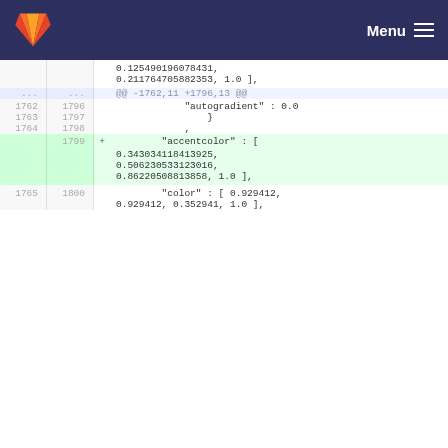GitLab Menu
| old_ln | new_ln | sign | code |
| --- | --- | --- | --- |
|  |  |  | 0.125490196078431, |
|  |  |  | 0.211764705882353, 1.0 ], |
| ... | ... |  | @@ -1762,11 +1796,13 @@ |
| 1762 | 1796 |  |  |
|  |  |  |                     "autogradient" : 0.0 |
| 1763 | 1797 |  |  |
|  |  |  |                 } |
| 1764 | 1798 |  |                 , |
|  | 1799 | + |  |
|  |  |  |             "accentcolor" : [ |
|  |  |  | 0.343034118413925, |
|  |  |  | 0.506230533123016, |
|  |  |  | 0.86220508813858, 1.0 ], |
| 1765 | 1800 |  |  |
|  |  |  |             "color" : [ 0.929412, |
|  |  |  | 0.929412, 0.352941, 1.0 ], |